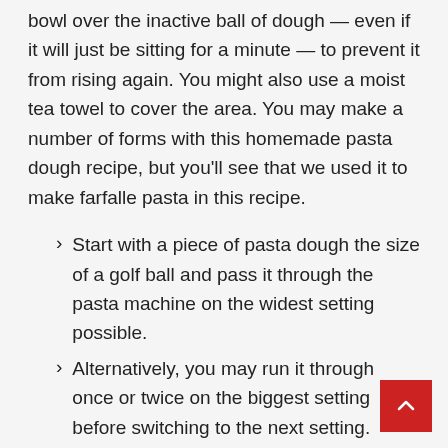bowl over the inactive ball of dough — even if it will just be sitting for a minute — to prevent it from rising again. You might also use a moist tea towel to cover the area. You may make a number of forms with this homemade pasta dough recipe, but you'll see that we used it to make farfalle pasta in this recipe.
Start with a piece of pasta dough the size of a golf ball and pass it through the pasta machine on the widest setting possible.
Alternatively, you may run it through once or twice on the biggest setting before switching to the next setting.
If you notice the pasta directly...